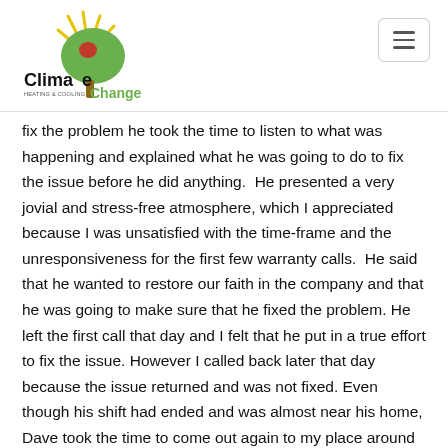[Figure (logo): Climate Change Heating & Cooling logo with stylized green tree, yellow sun rays, and red maple leaf]
fix the problem he took the time to listen to what was happening and explained what he was going to do to fix the issue before he did anything.  He presented a very jovial and stress-free atmosphere, which I appreciated because I was unsatisfied with the time-frame and the unresponsiveness for the first few warranty calls.  He said that he wanted to restore our faith in the company and that he was going to make sure that he fixed the problem. He left the first call that day and I felt that he put in a true effort to fix the issue. However I called back later that day because the issue returned and was not fixed. Even though his shift had ended and was almost near his home, Dave took the time to come out again to my place around 3:30pm to have a look.  He took another look at